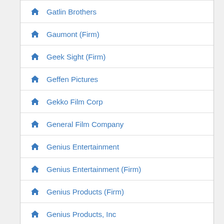Gatlin Brothers
Gaumont (Firm)
Geek Sight (Firm)
Geffen Pictures
Gekko Film Corp
General Film Company
Genius Entertainment
Genius Entertainment (Firm)
Genius Products (Firm)
Genius Products, Inc
Ghost House Pictures (Firm)